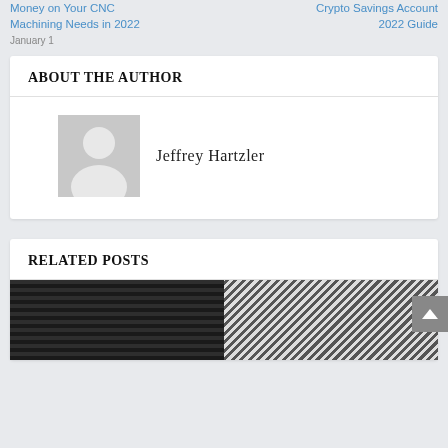Money on Your CNC Machining Needs in 2022 | Crypto Savings Account 2022 Guide
ABOUT THE AUTHOR
Jeffrey Hartzler
RELATED POSTS
[Figure (photo): Two related post thumbnail images side by side — left image shows dark diagonal texture/material, right image shows black and white diagonal stripe pattern]